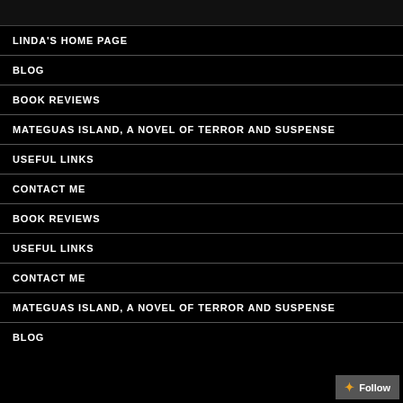LINDA'S HOME PAGE
BLOG
BOOK REVIEWS
MATEGUAS ISLAND, A NOVEL OF TERROR AND SUSPENSE
USEFUL LINKS
CONTACT ME
BOOK REVIEWS
USEFUL LINKS
CONTACT ME
MATEGUAS ISLAND, A NOVEL OF TERROR AND SUSPENSE
BLOG